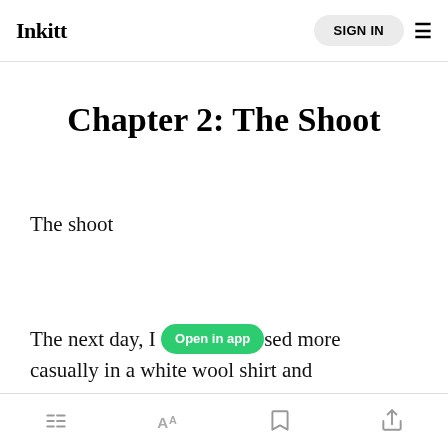Inkitt | SIGN IN
Chapter 2: The Shoot
The shoot
The next day, [Open in app]sed more casually in a white wool shirt and
[list icon] [font icon] [bookmark icon] [share icon]